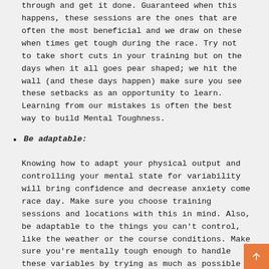through and get it done. Guaranteed when this happens, these sessions are the ones that are often the most beneficial and we draw on these when times get tough during the race. Try not to take short cuts in your training but on the days when it all goes pear shaped; we hit the wall (and these days happen) make sure you see these setbacks as an opportunity to learn. Learning from our mistakes is often the best way to build Mental Toughness.
Be adaptable: Knowing how to adapt your physical output and controlling your mental state for variability will bring confidence and decrease anxiety come race day. Make sure you choose training sessions and locations with this in mind. Also, be adaptable to the things you can't control, like the weather or the course conditions. Make sure you're mentally tough enough to handle these variables by trying as much as possible to train in these conditions or using positive mental